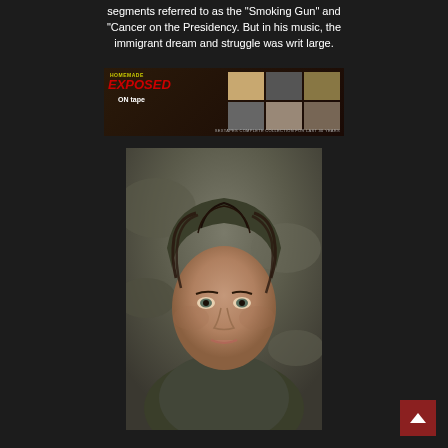segments referred to as the "Smoking Gun" and "Cancer on the Presidency. But in his music, the immigrant dream and struggle was writ large.
[Figure (photo): Advertisement banner with text 'HOMEMADE EXPOSED ON TAPE' with grid of thumbnail images and tagline 'SEXTAPES COMPLETE COLLECTION FOR LAST 30 YEARS']
[Figure (photo): Portrait photograph of a young woman with dark wet hair wearing a hood, looking directly at camera against a rocky background]
[Figure (other): Red back/up navigation button with white upward-pointing arrow in bottom right corner]